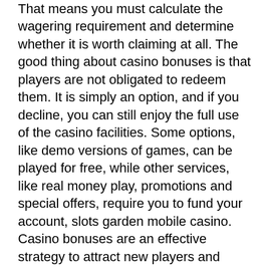That means you must calculate the wagering requirement and determine whether it is worth claiming at all. The good thing about casino bonuses is that players are not obligated to redeem them. It is simply an option, and if you decline, you can still enjoy the full use of the casino facilities. Some options, like demo versions of games, can be played for free, while other services, like real money play, promotions and special offers, require you to fund your account, slots garden mobile casino.
Casino bonuses are an effective strategy to attract new players and retain and retain existing ones. All a player needs to do is register for a free account and log in to start playing the range of the best online casino games. For a chance to win real money. If by next week tuesday you don't pay up what you owe us, we will come and close your casino. And let's see how you will make up for the losses. What is a signup promo? a